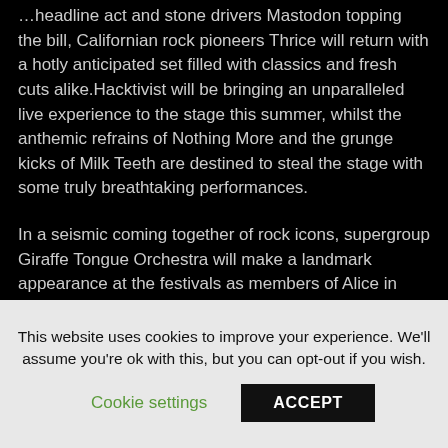…headline act and stone drivers Mastodon topping the bill, Californian rock pioneers Thrice will return with a hotly anticipated set filled with classics and fresh cuts alike.Hacktivist will be bringing an unparalleled live experience to the stage this summer, whilst the anthemic refrains of Nothing More and the grunge kicks of Milk Teeth are destined to steal the stage with some truly breathtaking performances.
In a seismic coming together of rock icons, supergroup Giraffe Tongue Orchestra will make a landmark appearance at the festivals as members of Alice in Chains, Mastodon, Dillinger Escape Plan, Dethklok and The Mars Volta combine for an unmissable performance. Further additions include the potent and brash rhymes of MGK, Heck, ROAM, Beach Slang,
This website uses cookies to improve your experience. We'll assume you're ok with this, but you can opt-out if you wish.
Cookie settings
ACCEPT